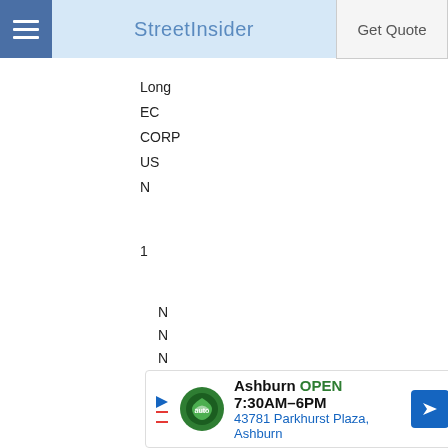StreetInsider | Get Quote
Long
EC
CORP
US
N
1
N
N
N
STATE STREET CORP
549300ZFEEJ2IP5VME73
857477103